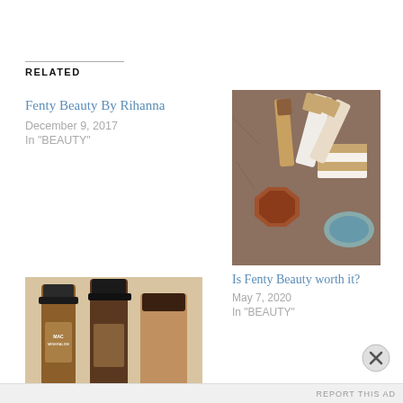RELATED
Fenty Beauty By Rihanna
December 9, 2017
In "BEAUTY"
[Figure (photo): Fenty Beauty makeup products including concealers, eyeshadow palette and other cosmetics arranged on a dark fur surface]
Is Fenty Beauty worth it?
May 7, 2020
In "BEAUTY"
[Figure (photo): MAC Mineralize foundation bottles in brown shades on a light background]
Advertisements